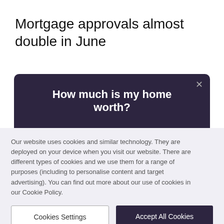Mortgage approvals almost double in June
[Figure (screenshot): Dark purple modal card with white bold heading 'How much is my home worth?' and a close (×) button in the top right corner]
Our website uses cookies and similar technology. They are deployed on your device when you visit our website. There are different types of cookies and we use them for a range of purposes (including to personalise content and target advertising). You can find out more about our use of cookies in our Cookie Policy.
Cookies Settings
Accept All Cookies